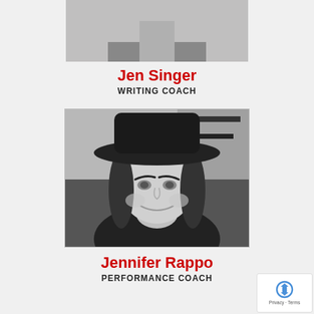[Figure (photo): Partial/cropped black and white headshot photo of Jen Singer at the top of the page]
Jen Singer
WRITING COACH
[Figure (photo): Black and white photo of Jennifer Rappo wearing a wide-brimmed black hat, smiling, with short dark hair]
Jennifer Rappo
PERFORMANCE COACH
[Figure (other): Google reCAPTCHA badge in the bottom right corner showing the reCAPTCHA logo with Privacy and Terms text]